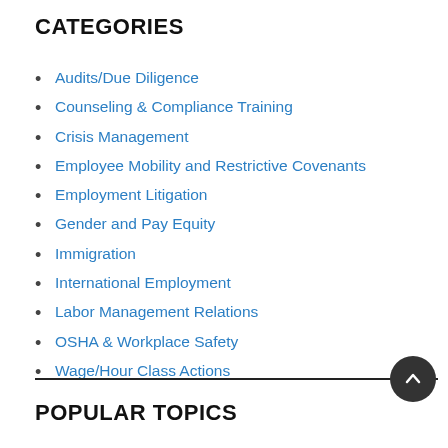CATEGORIES
Audits/Due Diligence
Counseling & Compliance Training
Crisis Management
Employee Mobility and Restrictive Covenants
Employment Litigation
Gender and Pay Equity
Immigration
International Employment
Labor Management Relations
OSHA & Workplace Safety
Wage/Hour Class Actions
POPULAR TOPICS